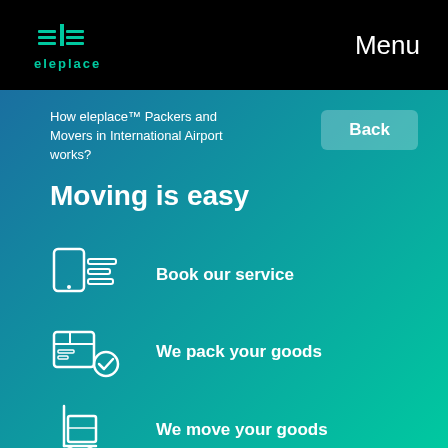[Figure (logo): eleplace logo with teal icon and teal text 'eleplace']
Menu
How eleplace™ Packers and Movers in International Airport works?
Back
Moving is easy
Book our service
We pack your goods
We move your goods